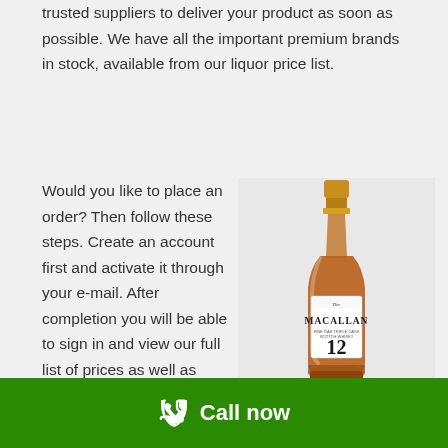trusted suppliers to deliver your product as soon as possible. We have all the important premium brands in stock, available from our liquor price list.
Would you like to place an order? Then follow these steps. Create an account first and activate it through your e-mail. After completion you will be able to sign in and view our full list of prices as well as shipping methods etc.
[Figure (photo): A bottle of The Macallan 12 year old Scotch whisky with a white label and amber/gold liquid]
Call now